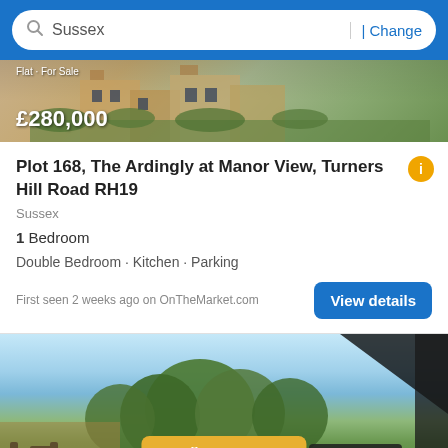Sussex | Change
[Figure (photo): Partial view of a residential property exterior showing brick facade and garden, with price overlay £280,000]
Plot 168, The Ardingly at Manor View, Turners Hill Road RH19
Sussex
1 Bedroom
Double Bedroom · Kitchen · Parking
First seen 2 weeks ago on OnTheMarket.com
[Figure (photo): Garden/outdoor view showing trees, sky and a railing/balcony fence in the foreground, with a Filter button overlay and 14 pictures badge]